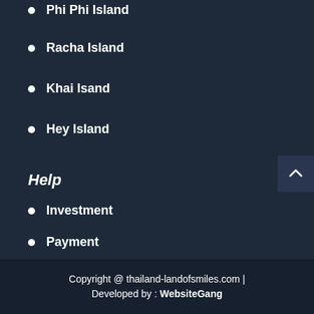Phi Phi Island
Racha Island
Khai Isand
Hey Island
Help
Investment
Payment
How to buy
Copyright @ thailand-landofsmiles.com | Developed by : WebsiteGang